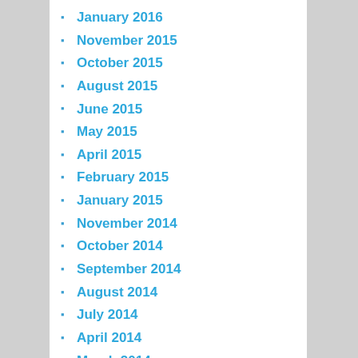January 2016
November 2015
October 2015
August 2015
June 2015
May 2015
April 2015
February 2015
January 2015
November 2014
October 2014
September 2014
August 2014
July 2014
April 2014
March 2014
February 2014
January 2014
October 2013
September 2013
July 2013